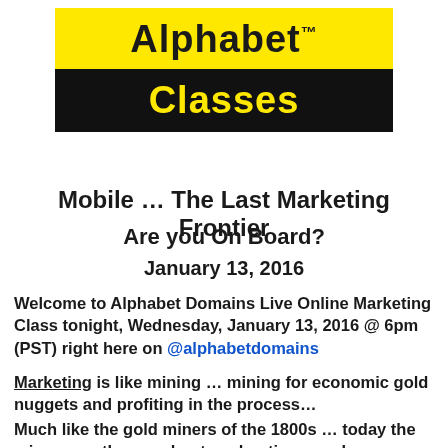[Figure (logo): Alphabet Classes logo: yellow background with bold black text 'Alphabet™' and black background with yellow text 'Classes']
Mobile … The Last Marketing Frontier
Are you On Board?
January 13, 2016
Welcome to Alphabet Domains Live Online Marketing Class tonight, Wednesday, January 13, 2016 @ 6pm (PST) right here on @alphabetdomains
Marketing is like mining … mining for economic gold nuggets and profiting in the process…
Much like the gold miners of the 1800s … today the miners are the merchants, advertisers and